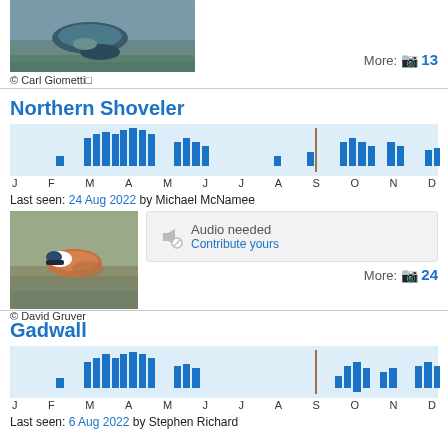[Figure (photo): Duck swimming in water, photo by Carl Giometti]
© Carl Giometti
More: 13
Northern Shoveler
[Figure (bar-chart): Northern Shoveler monthly sightings bar chart]
Last seen: 24 Aug 2022 by Michael McNamee
[Figure (photo): Northern Shoveler duck standing on rocks in water, photo by David Gruver]
Audio needed
Contribute yours
More: 24
© David Gruver
Gadwall
[Figure (bar-chart): Gadwall monthly sightings bar chart]
Last seen: 6 Aug 2022 by Stephen Richard